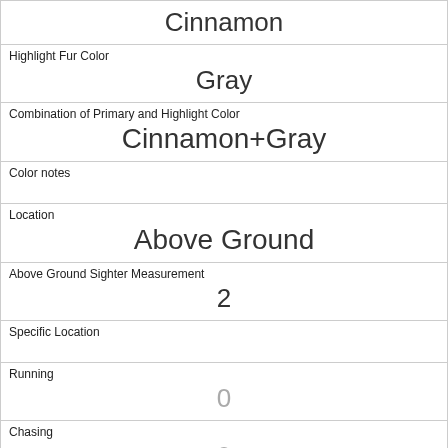| Cinnamon |
| Highlight Fur Color | Gray |
| Combination of Primary and Highlight Color | Cinnamon+Gray |
| Color notes |  |
| Location | Above Ground |
| Above Ground Sighter Measurement | 2 |
| Specific Location |  |
| Running | 0 |
| Chasing | 0 |
| Climbing | 0 |
| Eating | 0 |